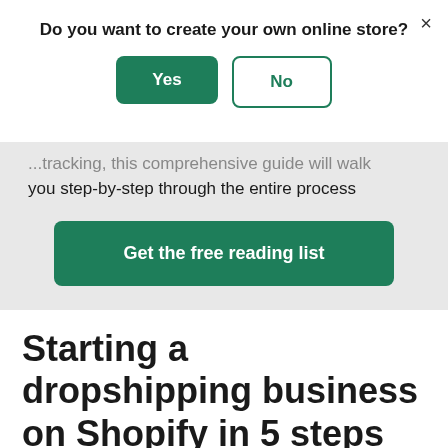Do you want to create your own online store?
Yes
No
...tracking, this comprehensive guide will walk you step-by-step through the entire process
Get the free reading list
Starting a dropshipping business on Shopify in 5 steps